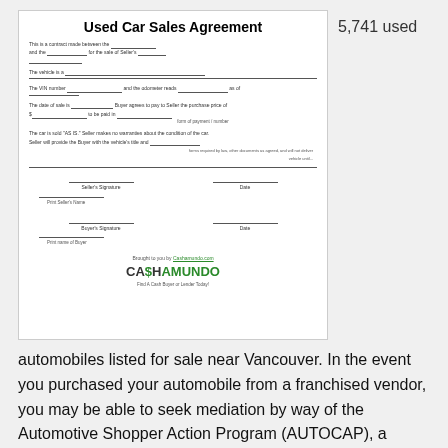[Figure (other): Thumbnail image of a Used Car Sales Agreement form document with signature lines and CashAmundo logo]
5,741 used
automobiles listed for sale near Vancouver. In the event you purchased your automobile from a franchised vendor, you may be able to seek mediation by way of the Automotive Shopper Action Program (AUTOCAP), a dispute resolution program coordinated nationally by the